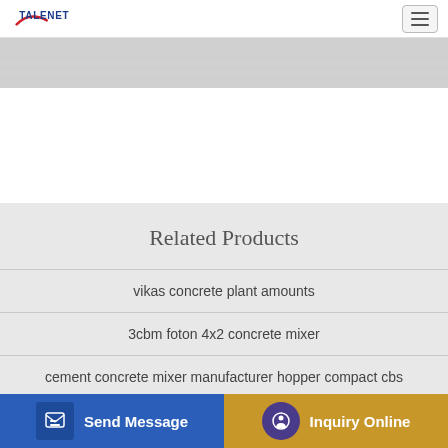TALENET (logo) — navigation header with hamburger menu
[Figure (photo): Banner/hero image area with light grey textured background]
Related Products
vikas concrete plant amounts
3cbm foton 4x2 concrete mixer
cement concrete mixer manufacturer hopper compact cbs
LT9500 Mixer Trucks Asphault Trucks Concrete Trucks Similar
Send Message | Inquiry Online